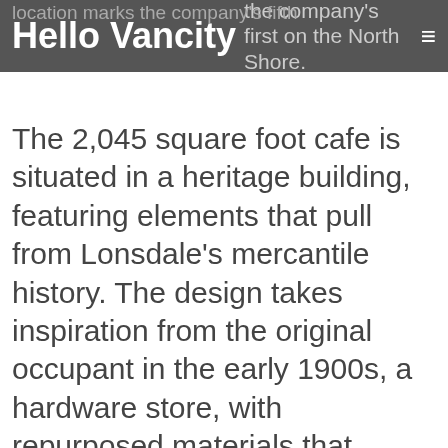Hello Vancity  the company's first on the North Shore.
The 2,045 square foot cafe is situated in a heritage building, featuring elements that pull from Lonsdale's mercantile history. The design takes inspiration from the original occupant in the early 1900s, a hardware store, with repurposed materials that immediately make the café feel authentic and permanent. The space features a beautifully lit doughnut display, retail space and a large corner window into the kitchen, so customers can watch the doughnuts being made.